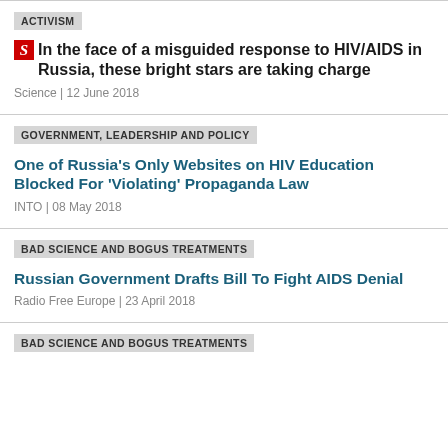ACTIVISM
In the face of a misguided response to HIV/AIDS in Russia, these bright stars are taking charge
Science | 12 June 2018
GOVERNMENT, LEADERSHIP AND POLICY
One of Russia's Only Websites on HIV Education Blocked For 'Violating' Propaganda Law
INTO | 08 May 2018
BAD SCIENCE AND BOGUS TREATMENTS
Russian Government Drafts Bill To Fight AIDS Denial
Radio Free Europe | 23 April 2018
BAD SCIENCE AND BOGUS TREATMENTS